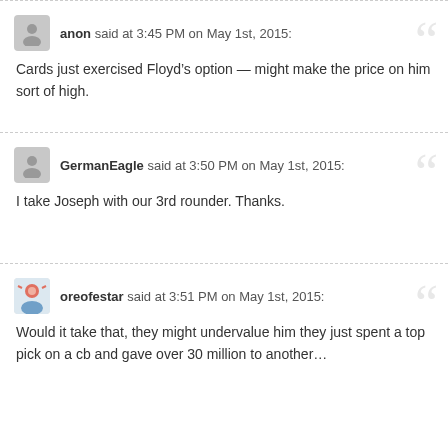anon said at 3:45 PM on May 1st, 2015:
Cards just exercised Floyd’s option — might make the price on him sort of high.
GermanEagle said at 3:50 PM on May 1st, 2015:
I take Joseph with our 3rd rounder. Thanks.
oreofestar said at 3:51 PM on May 1st, 2015:
Would it take that, they might undervalue him they just spent a top pick on a cb and gave over 30 million to another…